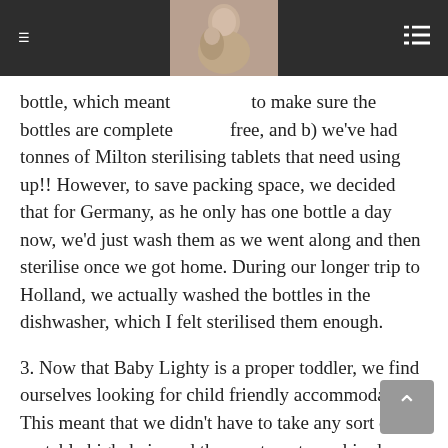[Navigation bar with hamburger menu, photo, and list icon]
bottle, which meant [photo] to make sure the bottles are complete free, and b) we've had tonnes of Milton sterilising tablets that need using up!! However, to save packing space, we decided that for Germany, as he only has one bottle a day now, we'd just wash them as we went along and then sterilise once we got home. During our longer trip to Holland, we actually washed the bottles in the dishwasher, which I felt sterilised them enough.
3. Now that Baby Lighty is a proper toddler, we find ourselves looking for child friendly accommodation. This meant that we didn't have to take any sort of portable highchair, and the apartments we hired came with stairgates and a cot. Our German apartment even had a play pen, change table, a small selection of toys and plastic cutlery, just to make things super easy!
4. A rookie mistake we made on our first trip abroad was not keeping any toys to hand for the